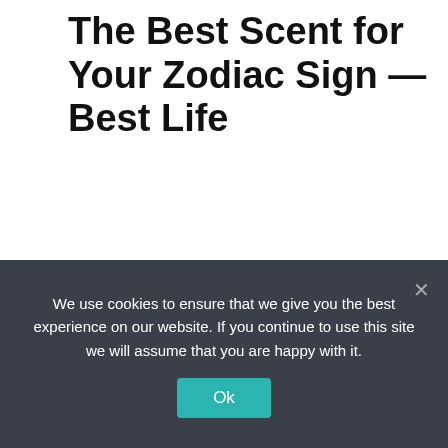The Best Scent for Your Zodiac Sign — Best Life
May 22, 2022 by admin
[Figure (photo): A hand holding a perfume bottle and spraying a mist of fragrance against a dark black background.]
We use cookies to ensure that we give you the best experience on our website. If you continue to use this site we will assume that you are happy with it.